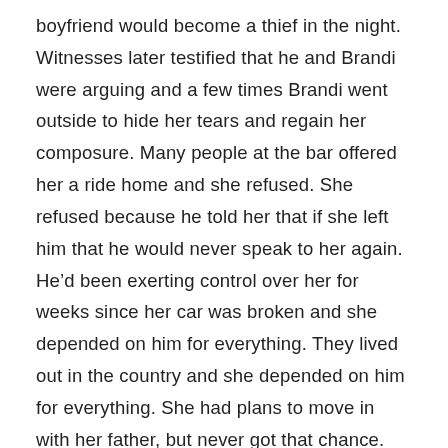boyfriend would become a thief in the night. Witnesses later testified that he and Brandi were arguing and a few times Brandi went outside to hide her tears and regain her composure. Many people at the bar offered her a ride home and she refused. She refused because he told her that if she left him that he would never speak to her again. He'd been exerting control over her for weeks since her car was broken and she depended on him for everything. They lived out in the country and she depended on him for everything. She had plans to move in with her father, but never got that chance. Because of the thief in the night, did what thieves do, he stole every next moment she would have.